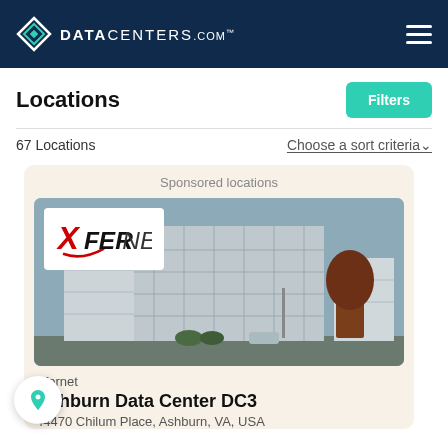DATACENTERS.com
Locations
67 Locations
Choose a sort criteria
Sponsored locations
[Figure (photo): Photo of Ashburn Data Center DC3 building, a multi-story glass and steel structure, with Xfernet logo overlay in top-left corner]
Xfernet
Ashburn Data Center DC3
44470 Chilum Place, Ashburn, VA, USA